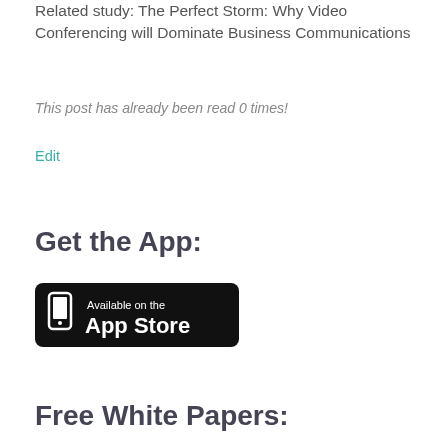Related study: The Perfect Storm: Why Video Conferencing will Dominate Business Communications
This post has already been read 0 times!
Edit
Get the App:
[Figure (logo): App Store badge — black rounded rectangle with phone icon and text 'Available on the App Store']
Free White Papers: